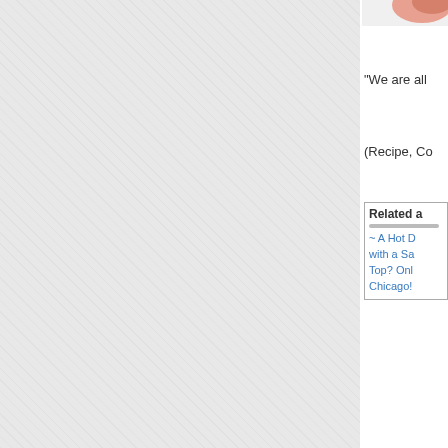[Figure (photo): Photo cropped at top right corner, showing a partial image (skin tones visible)]
"We are all
(Recipe, Co
Related a
~ A Hot D with a Sa Top? Onl Chicago!
Posted by Ki
Salads, Sand Draper do? R
Technorati Ta
Comment
Thanks for t best solutio